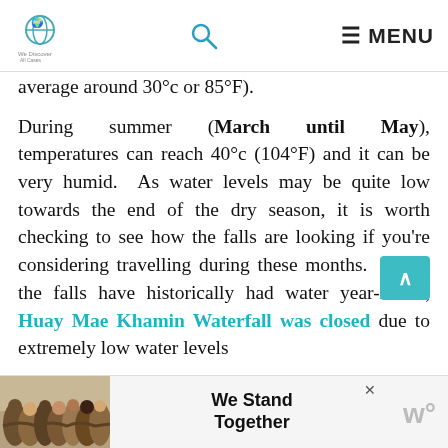We Discover All Cases [logo] | Search | MENU
average around 30°c or 85°F).
During summer (March until May), temperatures can reach 40°c (104°F) and it can be very humid. As water levels may be quite low towards the end of the dry season, it is worth checking to see how the falls are looking if you're considering travelling during these months. While the falls have historically had water year-round, Huay Mae Khamin Waterfall was closed due to extremely low water levels during the dry season in 2017.
[Figure (photo): Advertisement banner: group of people with arms around each other, backs to camera. Text reads 'We Stand Together'. Includes a close (×) button and a logo on the right.]